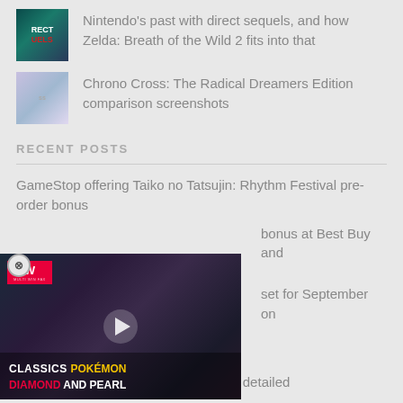Nintendo's past with direct sequels, and how Zelda: Breath of the Wild 2 fits into that
Chrono Cross: The Radical Dreamers Edition comparison screenshots
RECENT POSTS
GameStop offering Taiko no Tatsujin: Rhythm Festival pre-order bonus
bonus at Best Buy and
set for September on
[Figure (screenshot): Video thumbnail overlay showing CLASSICS POKÉMON DIAMOND AND PEARL with MW logo and play button]
Sonic Frontiers Digital Deluxe Edition detailed